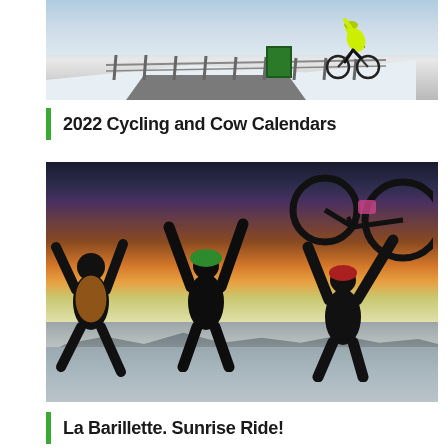[Figure (photo): Cyclist in neon yellow jacket riding on a snowy mountain road, raising one hand, with snow-covered landscape and fences in background]
2022 Cycling and Cow Calendars
[Figure (photo): Three silhouetted figures jumping and celebrating at sunset/sunrise, one holding a bicycle above their head, with mountains and golden sky in background]
La Barillette. Sunrise Ride!